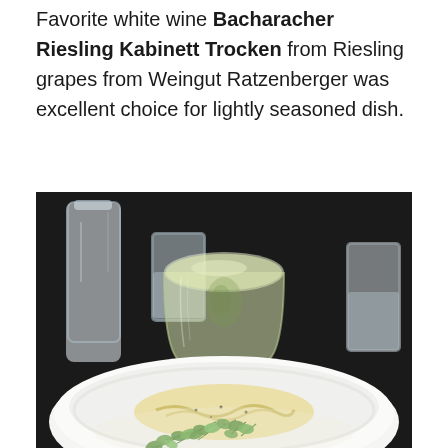Favorite white wine Bacharacher Riesling Kabinett Trocken from Riesling grapes from Weingut Ratzenberger was excellent choice for lightly seasoned dish.
[Figure (photo): A white wine glass filled with pale yellow Riesling wine, alongside water glasses and a white bowl containing pasta with microgreens, set on a dark table.]